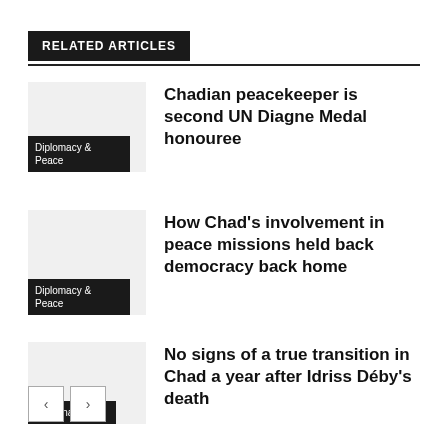RELATED ARTICLES
Chadian peacekeeper is second UN Diagne Medal honouree
Diplomacy & Peace
How Chad's involvement in peace missions held back democracy back home
Diplomacy & Peace
No signs of a true transition in Chad a year after Idriss Déby's death
Governance